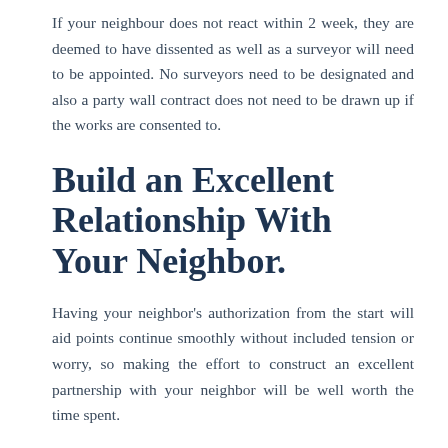If your neighbour does not react within 2 week, they are deemed to have dissented as well as a surveyor will need to be appointed. No surveyors need to be designated and also a party wall contract does not need to be drawn up if the works are consented to.
Build an Excellent Relationship With Your Neighbor.
Having your neighbor's authorization from the start will aid points continue smoothly without included tension or worry, so making the effort to construct an excellent partnership with your neighbor will be well worth the time spent.
Building this connection as quickly as you initially